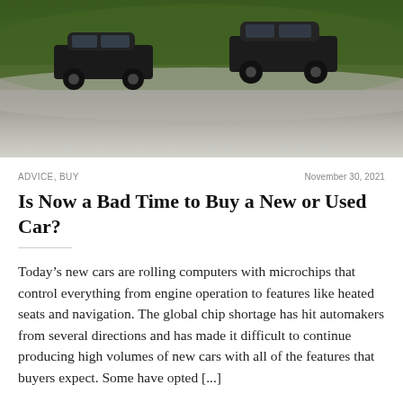[Figure (photo): Aerial or ground-level view of cars parked on a dirt/gravel area with green grass in the background]
ADVICE, BUY
November 30, 2021
Is Now a Bad Time to Buy a New or Used Car?
Today’s new cars are rolling computers with microchips that control everything from engine operation to features like heated seats and navigation. The global chip shortage has hit automakers from several directions and has made it difficult to continue producing high volumes of new cars with all of the features that buyers expect. Some have opted [...]